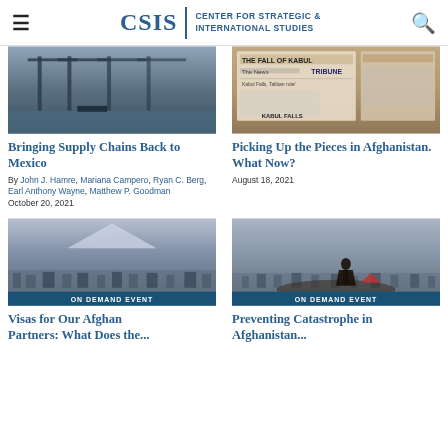CSIS | CENTER FOR STRATEGIC & INTERNATIONAL STUDIES
[Figure (photo): Port with cranes and cargo ships]
Bringing Supply Chains Back to Mexico
By John J. Hamre, Mariana Campero, Ryan C. Berg, Earl Anthony Wayne, Matthew P. Goodman
October 20, 2021
[Figure (photo): Newspaper front pages including The News, Tribune, with headline about fall of Kabul]
Picking Up the Pieces in Afghanistan. What Now?
August 18, 2021
[Figure (photo): Aerial view of city with mountains in background, ON DEMAND EVENT badge]
[Figure (photo): Silhouette of person standing on hill overlooking city, ON DEMAND EVENT badge]
Visas for Our Afghan Partners: What Does the...
Preventing Catastrophe in Afghanistan...